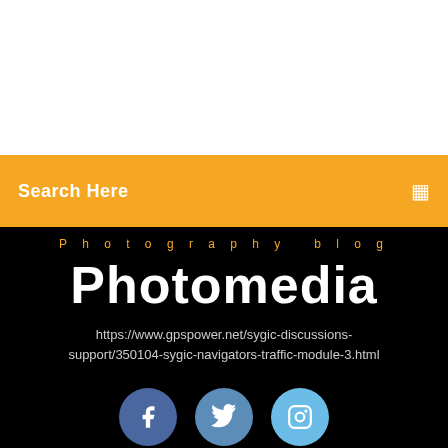[Figure (screenshot): White background section at top of page]
Search Here
Photography blog
Photomedia
https://www.gpspower.net/sygic-discussions-support/350104-sygic-navigators-traffic-module-3.html
[Figure (illustration): Social media icons: Facebook, Twitter, Instagram circles]